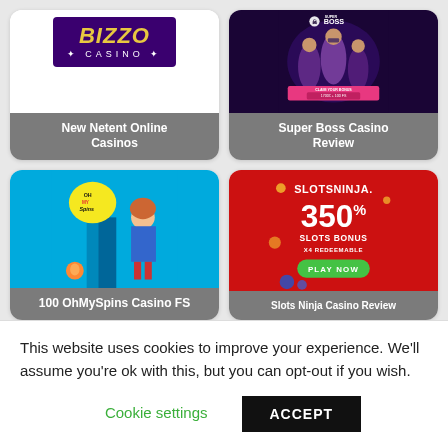[Figure (illustration): Bizzo Casino logo on white background — purple rectangle with yellow italic BIZZO text and white CASINO below]
New Netent Online Casinos
[Figure (photo): Super Boss Casino promotional banner — dark purple background with masked man and women, pink CLAIM YOUR BONUS button showing 1700€ + 100 FS]
Super Boss Casino Review
[Figure (illustration): OhMySpins Casino banner — cyan blue background with anime-style girl character and OH MY SPINS logo, overlaid text: 100 OhMySpins Casino FS]
100 OhMySpins Casino FS
[Figure (illustration): Slots Ninja Casino banner — red background with SLOTSNINJA logo, 350% SLOTS BONUS X4 REDEEMABLE text, green PLAY NOW button]
This website uses cookies to improve your experience. We'll assume you're ok with this, but you can opt-out if you wish.
Cookie settings   ACCEPT